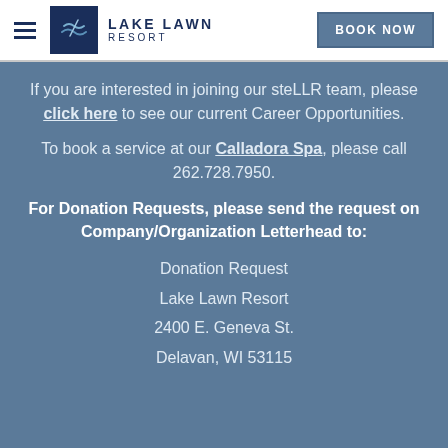Lake Lawn Resort — BOOK NOW
If you are interested in joining our steLLR team, please click here to see our current Career Opportunities.
To book a service at our Calladora Spa, please call 262.728.7950.
For Donation Requests, please send the request on Company/Organization Letterhead to:
Donation Request
Lake Lawn Resort
2400 E. Geneva St.
Delavan, WI 53115